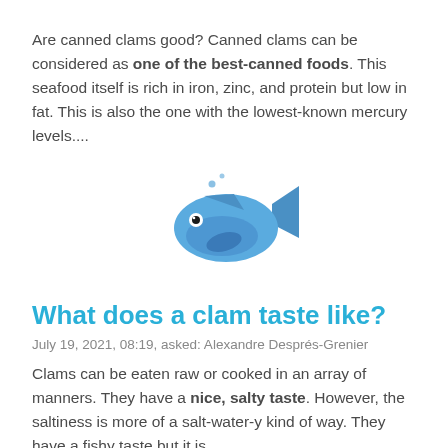Are canned clams good? Canned clams can be considered as one of the best-canned foods. This seafood itself is rich in iron, zinc, and protein but low in fat. This is also the one with the lowest-known mercury levels....
[Figure (illustration): Fish emoji — a blue cartoon fish facing right with small bubbles above it]
What does a clam taste like?
July 19, 2021, 08:19, asked: Alexandre Després-Grenier
Clams can be eaten raw or cooked in an array of manners. They have a nice, salty taste. However, the saltiness is more of a salt-water-y kind of way. They have a fishy taste but it is